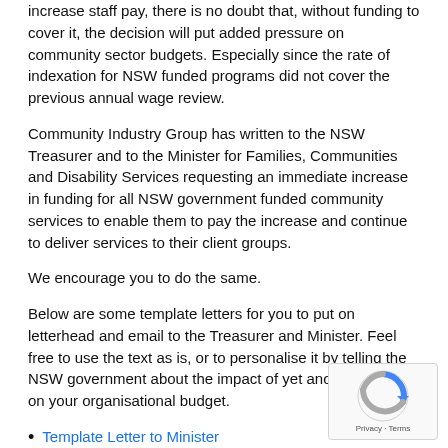increase staff pay, there is no doubt that, without funding to cover it, the decision will put added pressure on community sector budgets. Especially since the rate of indexation for NSW funded programs did not cover the previous annual wage review.
Community Industry Group has written to the NSW Treasurer and to the Minister for Families, Communities and Disability Services requesting an immediate increase in funding for all NSW government funded community services to enable them to pay the increase and continue to deliver services to their client groups.
We encourage you to do the same.
Below are some template letters for you to put on letterhead and email to the Treasurer and Minister. Feel free to use the text as is, or to personalise it by telling the NSW government about the impact of yet another pressure on your organisational budget.
Template Letter to Minister
Template Letter to Treasurer